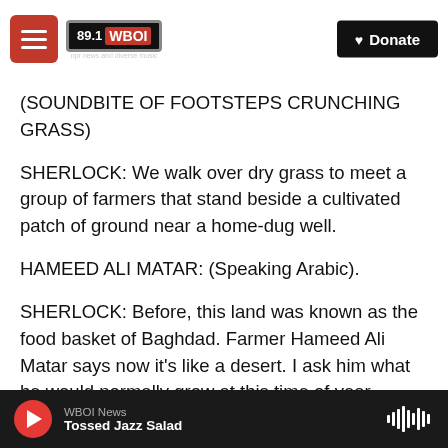[Figure (screenshot): WBOI 89.1 radio station website header with hamburger menu, WBOI logo, building dome background, and Donate button]
(SOUNDBITE OF FOOTSTEPS CRUNCHING GRASS)
SHERLOCK: We walk over dry grass to meet a group of farmers that stand beside a cultivated patch of ground near a home-dug well.
HAMEED ALI MATAR: (Speaking Arabic).
SHERLOCK: Before, this land was known as the food basket of Baghdad. Farmer Hameed Ali Matar says now it's like a desert. I ask him what he would normally grow at this time of year.
MATAR: (Speaking Arabic).
[Figure (screenshot): WBOI audio player bar at bottom showing play button, WBOI News label, Tossed Jazz Salad title, and waveform icon]